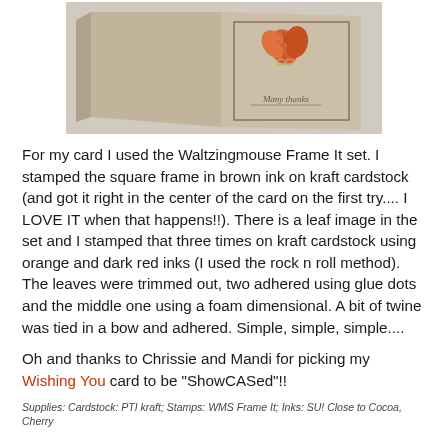[Figure (photo): A handmade kraft cardstock thank-you card with an orange leaf stamped image and twine bow, standing upright, with a rectangular stamped frame and cursive 'Many thanks' text inside.]
For my card I used the Waltzingmouse Frame It set.  I stamped the square frame in brown ink on kraft cardstock (and got it right in the center of the card on the first try.... I LOVE IT when that happens!!).  There is a leaf image in the set and I stamped that three times on kraft cardstock using orange and dark red inks (I used the rock n roll method).  The leaves were trimmed out, two adhered using glue dots and the middle one using a foam dimensional.  A bit of twine was tied in a bow and adhered.  Simple, simple, simple....
Oh and thanks to Chrissie and Mandi for picking my Wishing You card to be "ShowCASed"!!
Supplies:  Cardstock:  PTI kraft; Stamps:  WMS Frame It; Inks:  SU! Close to Cocoa, Cherry